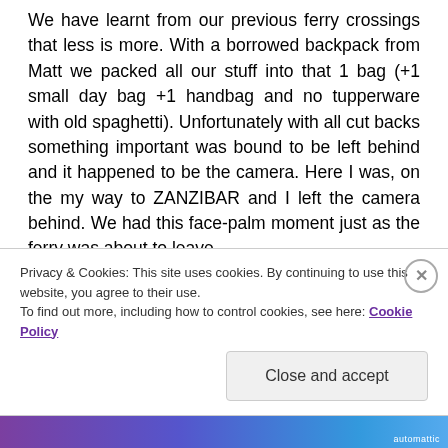We have learnt from our previous ferry crossings that less is more. With a borrowed backpack from Matt we packed all our stuff into that 1 bag (+1 small day bag +1 handbag and no tupperware with old spaghetti). Unfortunately with all cut backs something important was bound to be left behind and it happened to be the camera. Here I was, on the my way to ZANZIBAR and I left the camera behind. We had this face-palm moment just as the ferry was about to leave.
The ferry... It could not have been more opposite
Privacy & Cookies: This site uses cookies. By continuing to use this website, you agree to their use.
To find out more, including how to control cookies, see here: Cookie Policy
Close and accept